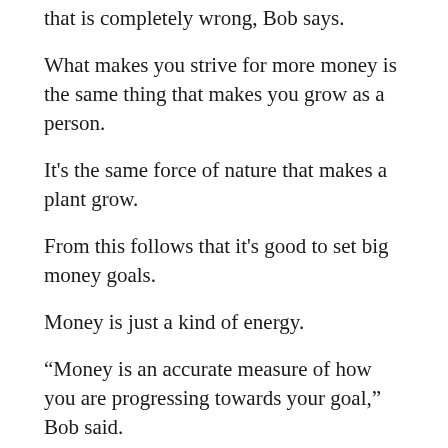that is completely wrong, Bob says.
What makes you strive for more money is the same thing that makes you grow as a person.
It's the same force of nature that makes a plant grow.
From this follows that it's good to set big money goals.
Money is just a kind of energy.
“Money is an accurate measure of how you are progressing towards your goal,” Bob said.